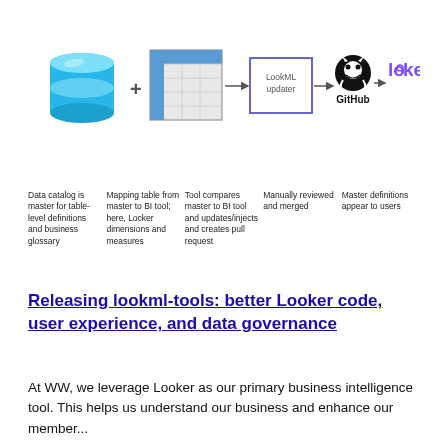[Figure (flowchart): Flowchart showing: database icon + table/spreadsheet icon → LookML updater box → GitHub logo → Looker logo]
Data catalog is master for table-level definitions and business glossary | Mapping table from master to BI tool; here, Locker dimensions and measures | Tool compares master to BI tool and updates/injects and creates pull request | Manually reviewed and merged | Master definitions appear to users
Releasing lookml-tools: better Looker code, user experience, and data governance
At WW, we leverage Looker as our primary business intelligence tool. This helps us understand our business and enhance our member...